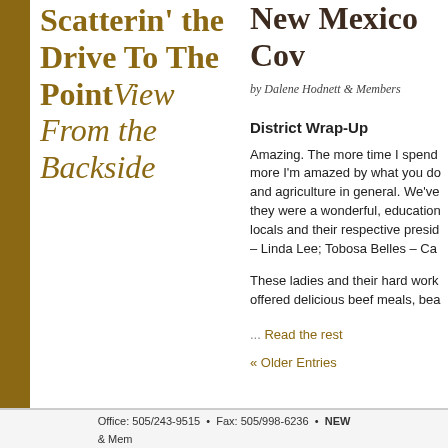Scatterin' the Drive To The Point View From the Backside
New Mexico Cow
by Dalene Hodnett & Members
District Wrap-Up
Amazing. The more time I spend more I'm amazed by what you do and agriculture in general. We've they were a wonderful, education locals and their respective presid – Linda Lee; Tobosa Belles – Ca
These ladies and their hard work offered delicious beef meals, bea
… Read the rest
« Older Entries
Office: 505/243-9515  •  Fax: 505/998-6236  •  NEW & Mem